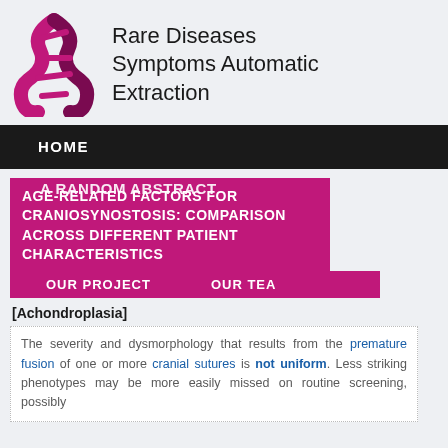[Figure (logo): DNA double helix logo in pink/magenta color]
Rare Diseases Symptoms Automatic Extraction
HOME
A RANDOM ABSTRACT
AGE-RELATED FACTORS FOR CRANIOSYNOSTOSIS: COMPARISON ACROSS DIFFERENT PATIENT CHARACTERISTICS
OUR PROJECT    OUR TEAM
[Achondroplasia]
The severity and dysmorphology that results from the premature fusion of one or more cranial sutures is not uniform. Less striking phenotypes may be more easily missed on routine screening, possibly